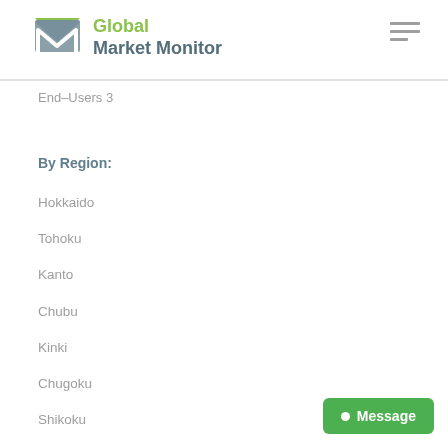Global Market Monitor
End-Users 3
By Region:
Hokkaido
Tohoku
Kanto
Chubu
Kinki
Chugoku
Shikoku
Kyushu